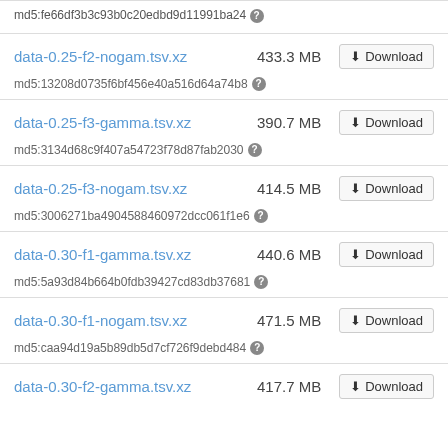md5:fe66df3b3c93b0c20edbd9d11991ba24
data-0.25-f2-nogam.tsv.xz  433.3 MB  Download  md5:13208d0735f6bf456e40a516d64a74b8
data-0.25-f3-gamma.tsv.xz  390.7 MB  Download  md5:3134d68c9f407a54723f78d87fab2030
data-0.25-f3-nogam.tsv.xz  414.5 MB  Download  md5:3006271ba4904588460972dcc061f1e6
data-0.30-f1-gamma.tsv.xz  440.6 MB  Download  md5:5a93d84b664b0fdb39427cd83db37681
data-0.30-f1-nogam.tsv.xz  471.5 MB  Download  md5:caa94d19a5b89db5d7cf726f9debd484
data-0.30-f2-gamma.tsv.xz  417.7 MB  Download